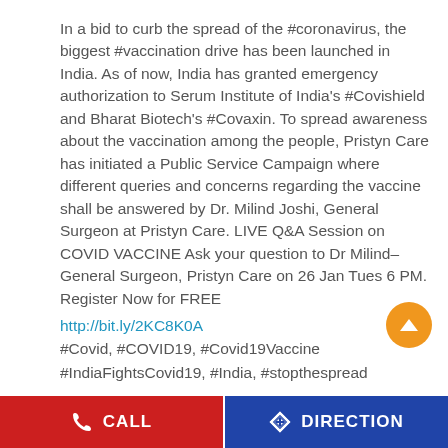In a bid to curb the spread of the #coronavirus, the biggest #vaccination drive has been launched in India. As of now, India has granted emergency authorization to Serum Institute of India's #Covishield and Bharat Biotech's #Covaxin. To spread awareness about the vaccination among the people, Pristyn Care has initiated a Public Service Campaign where different queries and concerns regarding the vaccine shall be answered by Dr. Milind Joshi, General Surgeon at Pristyn Care. LIVE Q&A Session on COVID VACCINE Ask your question to Dr Milind– General Surgeon, Pristyn Care on 26 Jan Tues 6 PM. Register Now for FREE
http://bit.ly/2KC8K0A
#Covid, #COVID19, #Covid19Vaccine
#IndiaFightsCovid19, #India, #stopthespread
#coronavirus
#vaccination
#Covishield